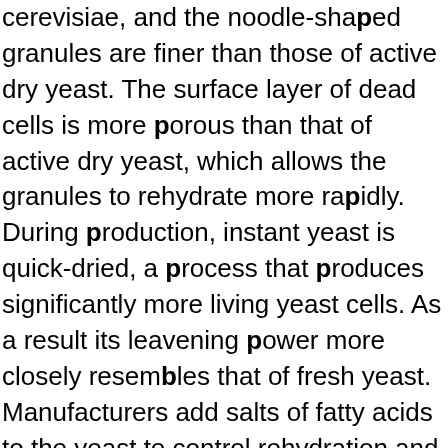cerevisiae, and the noodle-shaped granules are finer than those of active dry yeast. The surface layer of dead cells is more porous than that of active dry yeast, which allows the granules to rehydrate more rapidly. During production, instant yeast is quick-dried, a process that produces significantly more living yeast cells. As a result its leavening power more closely resembles that of fresh yeast. Manufacturers add salts of fatty acids to the yeast to control rehydration and boost the yeast's gassing power. The moisture content is lower, which increases the shelf life to 2 years in its vacuum pouch, or even longer when refrigerated. Once the package is opened and exposed to oxygen, instant yeast remains active for 1 year if it's refrigerated after being opened—it's the trade-off of the more porous surface. Compared with the active dry form, the instant variety produces more gas during fermentation.